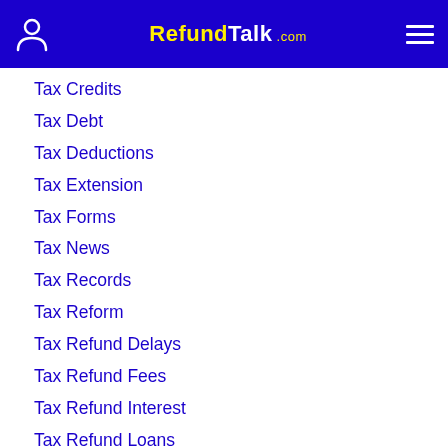RefundTalk.com
Tax Credits
Tax Debt
Tax Deductions
Tax Extension
Tax Forms
Tax News
Tax Records
Tax Reform
Tax Refund Delays
Tax Refund Fees
Tax Refund Interest
Tax Refund Loans
Tax Refund Offset
Tax Refund Paper Checks